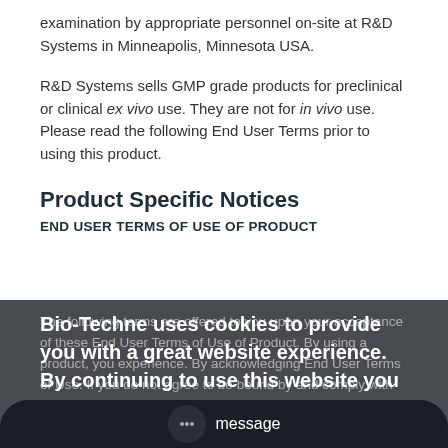examination by appropriate personnel on-site at R&D Systems in Minneapolis, Minnesota USA.
R&D Systems sells GMP grade products for preclinical or clinical ex vivo use. They are not for in vivo use. Please read the following End User Terms prior to using this product.
Product Specific Notices
END USER TERMS OF USE OF PRODUCT
The following terms are offered to you upon your acceptance of these End User Terms of Use of Product. By using a product, you experience. By acknowledging End User Terms of Use of product. If you do not agree to be bound by and comply with all of the provisions of these End User Terms of Use of Product, you should contact you arrangement.
Bio-Techne uses cookies to provide you with a great website experience. By continuing to use this website you acknowledge this and agree to our cookie policy. Learn more.
I Agree
message